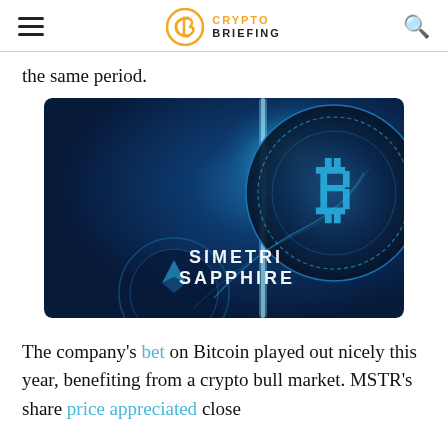CRYPTO BRIEFING
the same period.
[Figure (illustration): Dark blue crypto-themed illustration showing a large Bitcoin coin with glowing cyan light effects and circular design elements. Text overlay reads 'SIMETRI SAPPHIRE' in white/cyan letters. Branded image for Crypto Briefing's Simetri Sapphire product.]
The company's bet on Bitcoin played out nicely this year, benefiting from a crypto bull market. MSTR's share price appreciated close